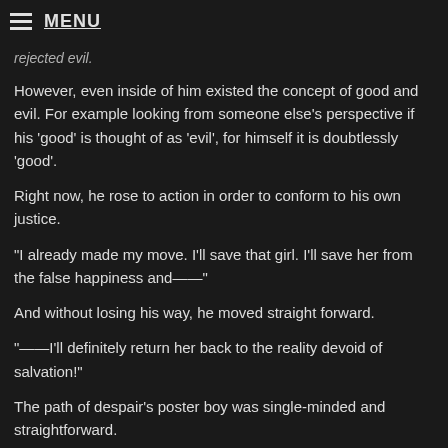MENU
rejected evil.
However, even inside of him existed the concept of good and evil. For example looking from someone else's perspective if his 'good' is thought of as 'evil', for himself it is doubtlessly 'good'.
Right now, he rose to action in order to conform to his own justice.
"I already made my move. I'll save that girl. I'll save her from the false happiness and——"
And without losing his way, he moved straight forward.
"——I'll definitely return her back to the reality devoid of salvation!"
The path of despair's poster boy was single-minded and straightforward.
□□□